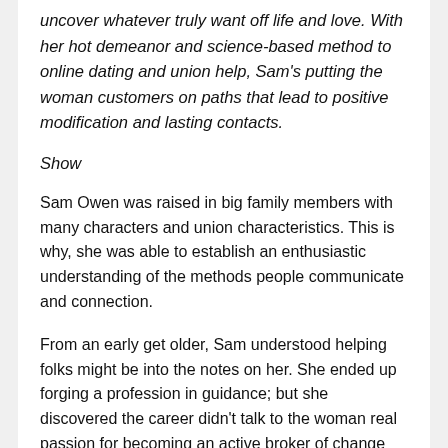uncover whatever truly want off life and love. With her hot demeanor and science-based method to online dating and union help, Sam's putting the woman customers on paths that lead to positive modification and lasting contacts.
Show
Sam Owen was raised in big family members with many characters and union characteristics. This is why, she was able to establish an enthusiastic understanding of the methods people communicate and connection.
From an early get older, Sam understood helping folks might be into the notes on her. She ended up forging a profession in guidance; but she discovered the career didn't talk to the woman real passion for becoming an active broker of change for folks.
"it truly believed more like an issue- and past-